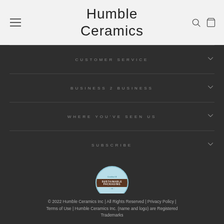Humble Ceramics
CUSTOMER SERVICE
BUSINESS 2 BUSINESS
WHERE YOU'VE SEEN US
SUBSCRIBE
[Figure (logo): Certified B Sustainable Packaging badge - circular badge with blue background and brown center band]
© 2022 Humble Ceramics Inc | All Rights Reserved | Privacy Policy | Terms of Use | Humble Ceramics Inc. (name and logo) are Registered Trademarks